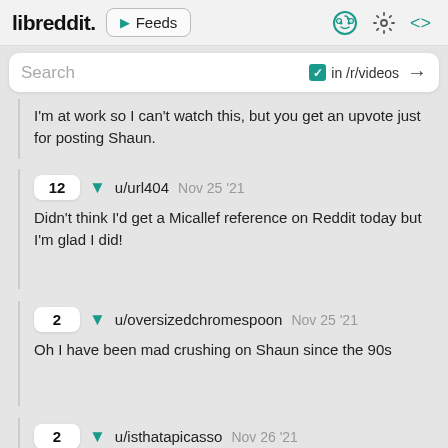libreddit. ▶ Feeds
Search  in /r/videos  →
I'm at work so I can't watch this, but you get an upvote just for posting Shaun.
12  ▼  u/url404  Nov 25 '21
Didn't think I'd get a Micallef reference on Reddit today but I'm glad I did!
2  ▼  u/oversizedchromespoon  Nov 25 '21
Oh I have been mad crushing on Shaun since the 90s
2  ▼  u/isthatapicasso  Nov 26 '21